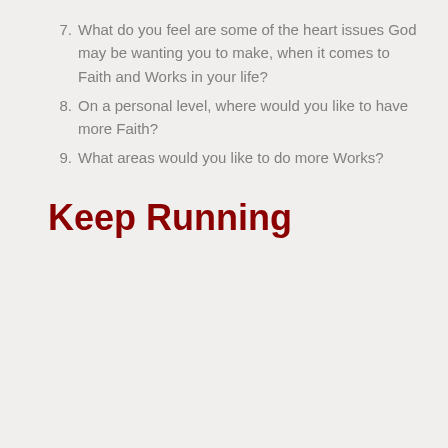7. What do you feel are some of the heart issues God may be wanting you to make, when it comes to Faith and Works in your life?
8. On a personal level, where would you like to have more Faith?
9. What areas would you like to do more Works?
Keep Running